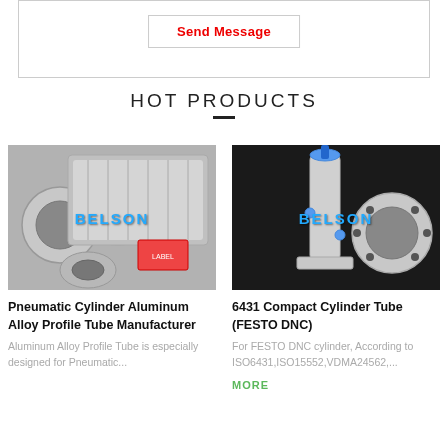[Figure (screenshot): Send Message button inside a bordered box at the top of the page]
HOT PRODUCTS
[Figure (photo): Aluminum alloy profile tubes for pneumatic cylinders with BELSON watermark]
Pneumatic Cylinder Aluminum Alloy Profile Tube Manufacturer
Aluminum Alloy Profile Tube is especially designed for Pneumatic...
[Figure (photo): 6431 compact cylinder tube (FESTO DNC) with BELSON watermark]
6431 Compact Cylinder Tube (FESTO DNC)
For FESTO DNC cylinder, According to ISO6431,ISO15552,VDMA24562,...
MORE